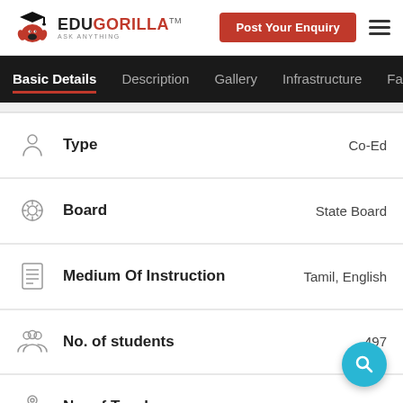EDUGORILLA ASK ANYTHING | Post Your Enquiry
Basic Details | Description | Gallery | Infrastructure | Fa…
Type — Co-Ed
Board — State Board
Medium Of Instruction — Tamil, English
No. of students — 497
No. of Teachers